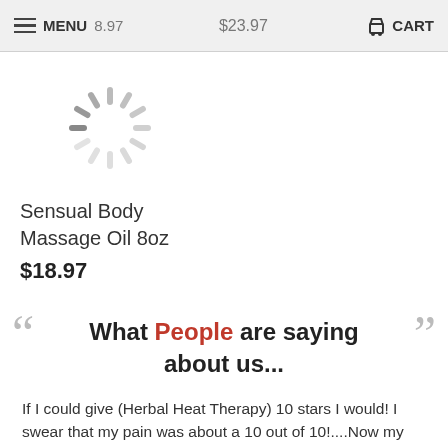MENU  $18.97   $23.97   CART
[Figure (screenshot): Spinning loader / loading indicator icon in gray]
Sensual Body Massage Oil 8oz
$18.97
What People are saying about us...
If I could give (Herbal Heat Therapy) 10 stars I would! I swear that my pain was about a 10 out of 10!....Now my pain has decreased to about a 2 out of 10, at it's